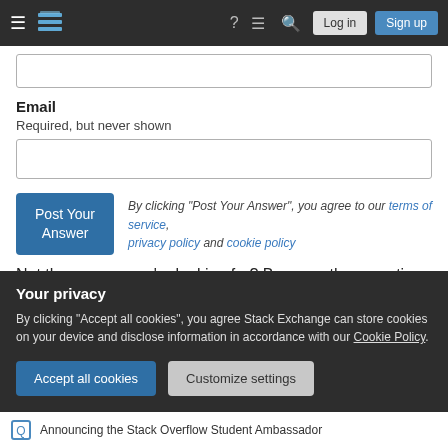Stack Exchange navigation bar with Log in and Sign up buttons
Email
Required, but never shown
By clicking "Post Your Answer", you agree to our terms of service, privacy policy and cookie policy
Not the answer you're looking for? Browse other questions
Your privacy
By clicking "Accept all cookies", you agree Stack Exchange can store cookies on your device and disclose information in accordance with our Cookie Policy.
Announcing the Stack Overflow Student Ambassador